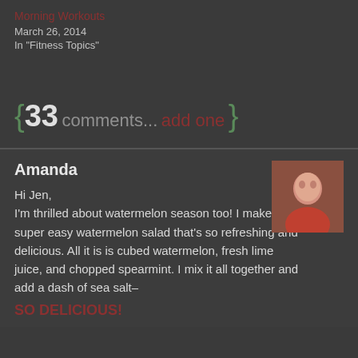Morning Workouts
March 26, 2014
In "Fitness Topics"
{ 33 comments... add one }
Amanda
Hi Jen,
I'm thrilled about watermelon season too! I make a super easy watermelon salad that's so refreshing and delicious. All it is is cubed watermelon, fresh lime juice, and chopped spearmint. I mix it all together and add a dash of sea salt–
SO DELICIOUS!